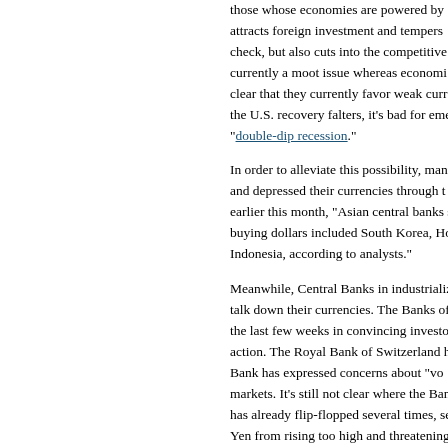those whose economies are powered by... attracts foreign investment and tempers... check, but also cuts into the competitive... currently a moot issue whereas economi... clear that they currently favor weak curre... the U.S. recovery falters, it's bad for eme... "double-dip recession."

In order to alleviate this possibility, many... and depressed their currencies through t... earlier this month, "Asian central banks s... buying dollars included South Korea, Ho... Indonesia, according to analysts."

Meanwhile, Central Banks in industrialize... talk down their currencies. The Banks of... the last few weeks in convincing investo... action. The Royal Bank of Switzerland ha... Bank has expressed concerns about "vo... markets. It's still not clear where the Ban... has already flip-flopped several times, se... Yen from rising too high and threatening...

Consider also foreign Central Banks' col... by nearly $800 Billion over the last year...